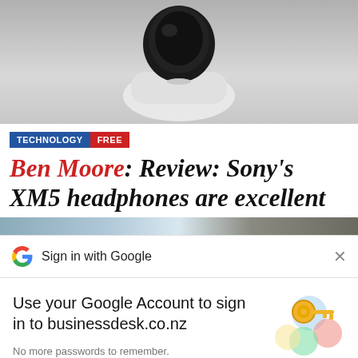[Figure (photo): Top portion of Sony XM5 wireless earbuds in charging case on white background, partially cropped]
TECHNOLOGY FREE
Ben Moore: Review: Sony's XM5 headphones are excellent
[Figure (photo): Partially visible landscape/scenic photo, cropped at bottom of article section]
Sign in with Google
Use your Google Account to sign in to businessdesk.co.nz
No more passwords to remember. Signing in is fast, simple and secure.
[Figure (illustration): Google sign-in illustration with colorful key and circular elements]
Continue
[Figure (photo): Bottom strip of another partially visible image]